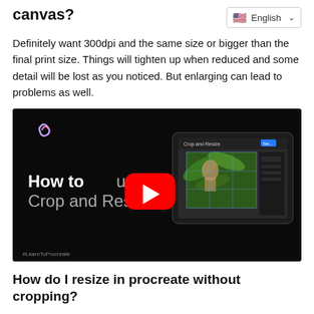canvas?
Definitely want 300dpi and the same size or bigger than the final print size. Things will tighten up when reduced and some detail will be lost as you noticed. But enlarging can lead to problems as well.
[Figure (screenshot): YouTube video thumbnail showing 'How to use Crop and Resize.' with a play button overlay. Shows a Procreate interface with an image of a woman among green leaves. Hashtag #LearnToProcreate visible at bottom left.]
How do I resize in procreate without cropping?